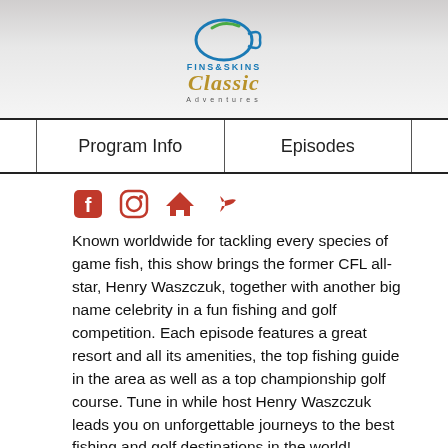[Figure (logo): Fins & Skins Classic Adventures logo with fish graphic on top and stylized 'Classic Adventures' text]
Program Info	Episodes
[Figure (infographic): Social media icons: Facebook, Instagram, home, share]
Known worldwide for tackling every species of game fish, this show brings the former CFL all-star, Henry Waszczuk, together with another big name celebrity in a fun fishing and golf competition. Each episode features a great resort and all its amenities, the top fishing guide in the area as well as a top championship golf course. Tune in while host Henry Waszczuk leads you on unforgettable journeys to the best fishing and golf destinations in the world!